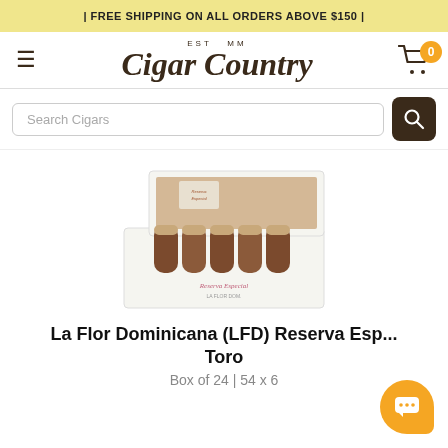| FREE SHIPPING ON ALL ORDERS ABOVE $150 |
[Figure (logo): Cigar Country logo with EST MM tagline above in small caps, script font]
[Figure (photo): Open white cigar box labeled Reserva Especial containing brown cigars]
La Flor Dominicana (LFD) Reserva Esp... Toro
Box of 24 | 54 x 6